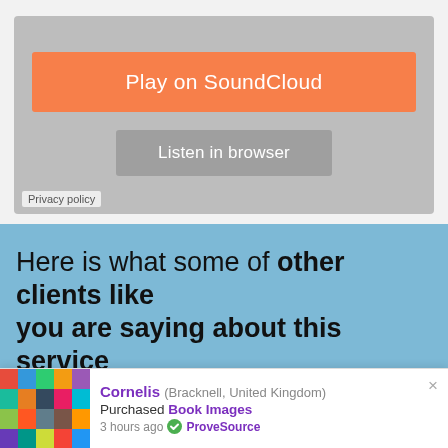[Figure (screenshot): SoundCloud embedded player with orange 'Play on SoundCloud' button and gray 'Listen in browser' button on a gray background, with 'Privacy policy' text at bottom left]
Privacy policy
Here is what some of other clients like you are saying about this service
[Figure (screenshot): ProveSource notification popup showing: Cornelis (Bracknell, United Kingdom) Purchased Book Images 3 hours ago with ProveSource branding and colorful thumbnail grid]